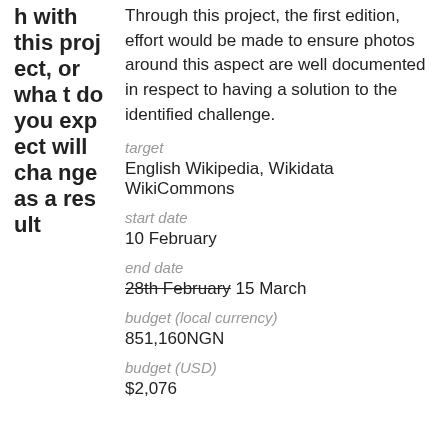h with this project, or what do you expect will change as a result
Through this project, the first edition, effort would be made to ensure photos around this aspect are well documented in respect to having a solution to the identified challenge.
target
English Wikipedia, Wikidata WikiCommons
start date
10 February
end date
28th February 15 March
budget (local currency)
851,160NGN
budget (USD)
$2,076